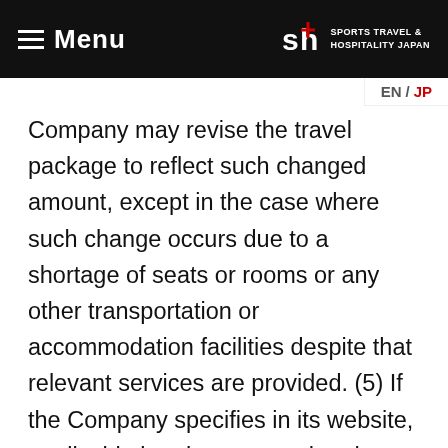Menu | SPORTS TRAVEL & HOSPITALITY JAPAN
Company may revise the travel package to reflect such changed amount, except in the case where such change occurs due to a shortage of seats or rooms or any other transportation or accommodation facilities despite that relevant services are provided. (5) If the Company specifies in its website, applicable brochures, etc. that the travel package fare may vary depending on the number of participants using the transportation or accommodation facilities, and such number of participants actually changes after the Travel Package Contract